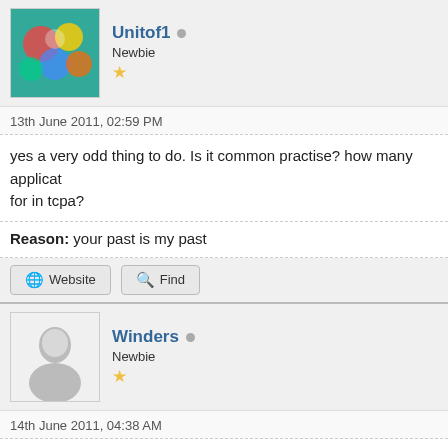[Figure (photo): Avatar image for user Unitof1, colorful cartoon/illustration style]
Unitof1 [offline] Newbie ★
13th June 2011, 02:59 PM
yes a very odd thing to do. Is it common practise? how many applicat... for in tcpa?
Reason: your past is my past
Website  Find
[Figure (illustration): Default avatar silhouette for user Winders]
Winders [offline] Newbie ★
14th June 2011, 04:38 AM
I assume you mean by TCPA, the grant of planning permission under... Planning Permission legally, even though the two processes are offen... Certificates of Immunity from Listing in the Town and Country Plannin... equivalent of Certificates of Lawful Use or Development under the Pl...